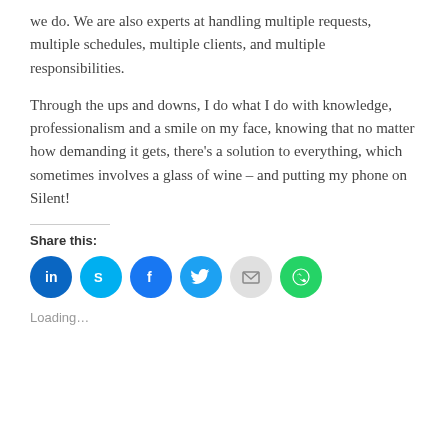we do. We are also experts at handling multiple requests, multiple schedules, multiple clients, and multiple responsibilities.
Through the ups and downs, I do what I do with knowledge, professionalism and a smile on my face, knowing that no matter how demanding it gets, there’s a solution to everything, which sometimes involves a glass of wine – and putting my phone on Silent!
Share this:
[Figure (infographic): Row of circular social share buttons: LinkedIn (dark blue), Skype (light blue), Facebook (dark blue), Twitter (light blue), Email (light gray), WhatsApp (green)]
Loading…